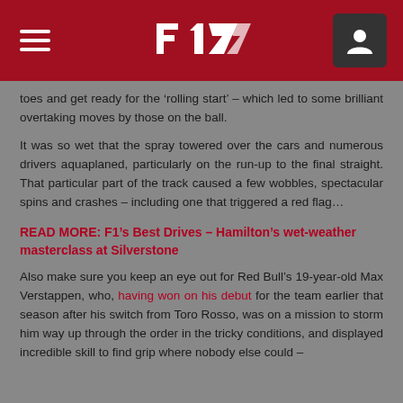F1 (Formula 1) navigation header
toes and get ready for the ‘rolling start’ – which led to some brilliant overtaking moves by those on the ball.
It was so wet that the spray towered over the cars and numerous drivers aquaplaned, particularly on the run-up to the final straight. That particular part of the track caused a few wobbles, spectacular spins and crashes – including one that triggered a red flag...
READ MORE: F1’s Best Drives – Hamilton’s wet-weather masterclass at Silverstone
Also make sure you keep an eye out for Red Bull’s 19-year-old Max Verstappen, who, having won on his debut for the team earlier that season after his switch from Toro Rosso, was on a mission to storm him way up through the order in the tricky conditions, and displayed incredible skill to find grip where nobody else could –